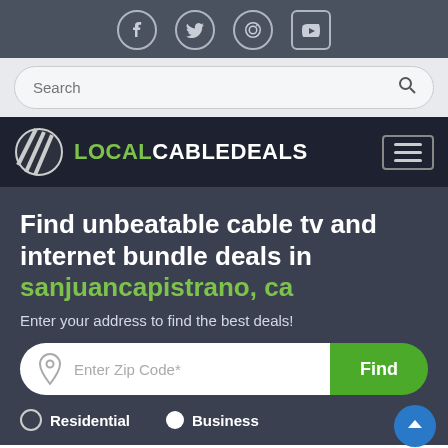[Figure (screenshot): Social media icons row: Facebook, Twitter, Pinterest, YouTube — circular outlined icons on dark gray bar]
[Figure (screenshot): Search bar with placeholder text 'Search' and magnifying glass icon on light gray background]
[Figure (logo): LocalCableDeals logo — diagonal stripe circle icon with LOCAL in green and CABLEDEALS in white, hamburger menu icon on right]
Find unbeatable cable tv and internet bundle deals in sanjuancapistrano, ca
Enter your address to find the best deals!
[Figure (screenshot): Zip code input field with pin icon placeholder 'Enter Zip Code*' and green 'Find' button]
Residential   Business